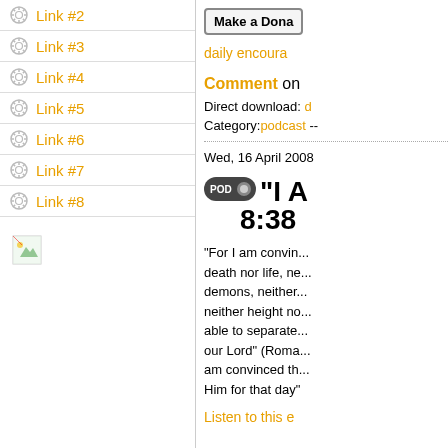Link #2
Link #3
Link #4
Link #5
Link #6
Link #7
Link #8
[Figure (illustration): Small image placeholder icon]
Make a Dona
daily encoura
Comment on
Direct download: d
Category:podcast --
Wed, 16 April 2008
[Figure (other): POD badge with podcast icon and text 'I A' and time '8:38']
"For I am convin... death nor life, ne... demons, neither... neither height no... able to separate... our Lord" (Roma... am convinced th... Him for that day"
Listen to this e